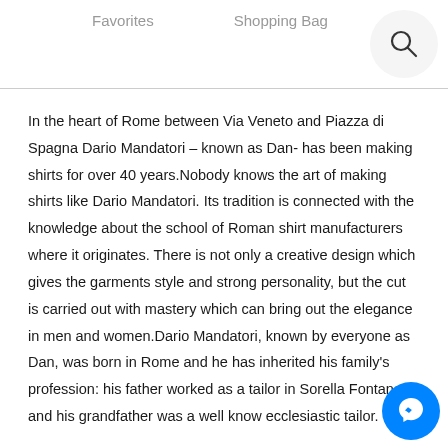Favorites    Shopping Bag
In the heart of Rome between Via Veneto and Piazza di Spagna Dario Mandatori – known as Dan- has been making shirts for over 40 years.Nobody knows the art of making shirts like Dario Mandatori. Its tradition is connected with the knowledge about the school of Roman shirt manufacturers where it originates. There is not only a creative design which gives the garments style and strong personality, but the cut is carried out with mastery which can bring out the elegance in men and women.Dario Mandatori, known by everyone as Dan, was born in Rome and he has inherited his family's profession: his father worked as a tailor in Sorella Fontana and his grandfather was a well know ecclesiastic tailor.